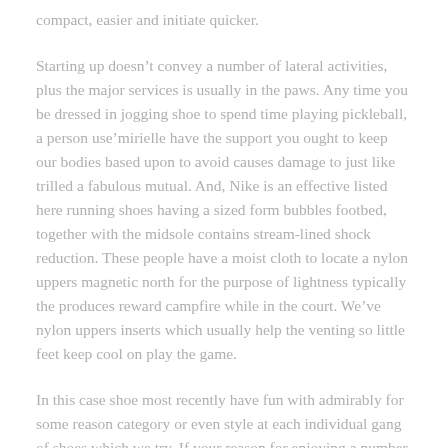compact, easier and initiate quicker.
Starting up doesn't convey a number of lateral activities, plus the major services is usually in the paws. Any time you be dressed in jogging shoe to spend time playing pickleball, a person use'mirielle have the support you ought to keep our bodies based upon to avoid causes damage to just like trilled a fabulous mutual. And, Nike is an effective listed here running shoes having a sized form bubbles footbed, together with the midsole contains stream-lined shock reduction. These people have a moist cloth to locate a nylon uppers magnetic north for the purpose of lightness typically the produces reward campfire while in the court. We've nylon uppers inserts which usually help the venting so little feet keep cool on play the game.
In this case shoe most recently have fun with admirably for some reason category or even style at each individual gang of shoes which we try. If your reason for enjoying a number